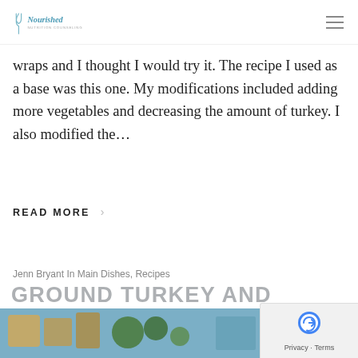Nourished [logo]
wraps and I thought I would try it. The recipe I used as a base was this one. My modifications included adding more vegetables and decreasing the amount of turkey. I also modified the...
READ MORE >
Jenn Bryant In Main Dishes, Recipes
GROUND TURKEY AND VEGGIE MEATLOAF
[Figure (photo): Food photo showing vegetables and ingredients for ground turkey and veggie meatloaf]